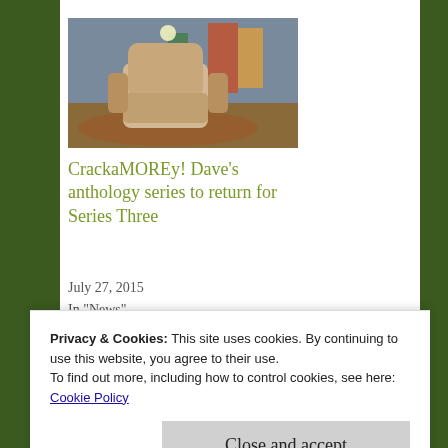[Figure (photo): Interior scene with a large armchair/recliner in a cluttered room with shelves and colorful items in background]
CrackaMOREy! Dave's anthology series to return for Series Three
July 27, 2015
In "News"
Big Face Productions
Bob Pipe
Privacy & Cookies: This site uses cookies. By continuing to use this website, you agree to their use.
To find out more, including how to control cookies, see here: Cookie Policy
Close and accept